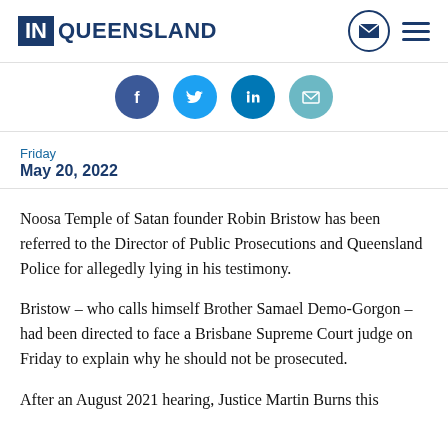IN QUEENSLAND
[Figure (infographic): Social sharing icons row: Facebook, Twitter, LinkedIn, Email]
Friday
May 20, 2022
Noosa Temple of Satan founder Robin Bristow has been referred to the Director of Public Prosecutions and Queensland Police for allegedly lying in his testimony.
Bristow – who calls himself Brother Samael Demo-Gorgon – had been directed to face a Brisbane Supreme Court judge on Friday to explain why he should not be prosecuted.
After an August 2021 hearing, Justice Martin Burns this